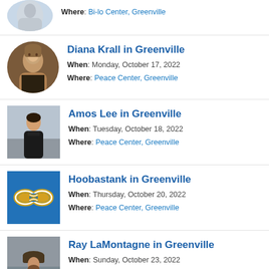Where: Bi-lo Center, Greenville
Diana Krall in Greenville
When: Monday, October 17, 2022
Where: Peace Center, Greenville
Amos Lee in Greenville
When: Tuesday, October 18, 2022
Where: Peace Center, Greenville
Hoobastank in Greenville
When: Thursday, October 20, 2022
Where: Peace Center, Greenville
Ray LaMontagne in Greenville
When: Sunday, October 23, 2022
Where: Peace Center, Greenville